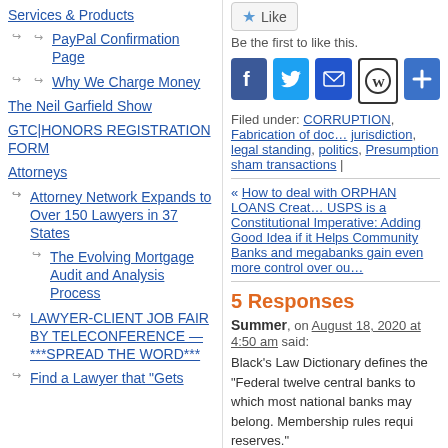Services & Products
PayPal Confirmation Page
Why We Charge Money
The Neil Garfield Show
GTC|HONORS REGISTRATION FORM
Attorneys
Attorney Network Expands to Over 150 Lawyers in 37 States
The Evolving Mortgage Audit and Analysis Process
LAWYER-CLIENT JOB FAIR BY TELECONFERENCE — ***SPREAD THE WORD***
Find a Lawyer that "Gets
[Figure (infographic): Social media sharing buttons: Facebook (blue), Twitter (blue), Email (blue), WordPress (black/white), Share/Plus (blue)]
Be the first to like this.
Filed under: CORRUPTION, Fabrication of documents, jurisdiction, legal standing, politics, Presumption, sham transactions |
« How to deal with ORPHAN LOANS Created by USPS is a Constitutional Imperative: Adding Good Idea if it Helps Community Banks and megabanks gain even more control over our
5 Responses
Summer, on August 18, 2020 at 4:50 am said:
Black's Law Dictionary defines the "Federal twelve central banks to which most national banks may belong. Membership rules requi reserves."